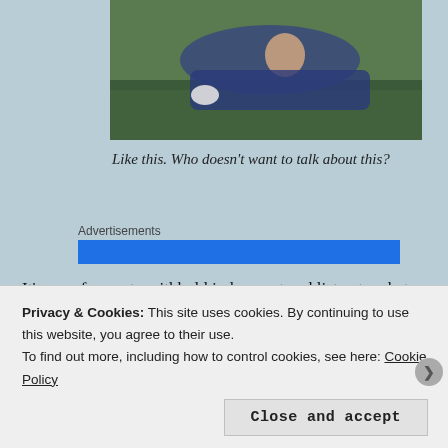[Figure (photo): A person lying on grass, casually posed, wearing jeans, photographed from above]
Like this. Who doesn't want to talk about this?
Advertisements
[Figure (screenshot): Blue advertisement banner, partially visible]
It's easy for me to withhold judgement and listen to what someone else has to say behind the anonymity of a computer screen. It's much harder to do this in person, I get that. But it can be done. So I will keep trying, in hopes of one day nailing down a posse of fellow non-
Privacy & Cookies: This site uses cookies. By continuing to use this website, you agree to their use.
To find out more, including how to control cookies, see here: Cookie Policy
Close and accept